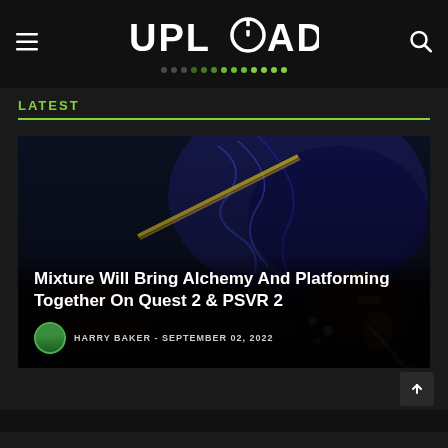UPLOAD
LATEST
[Figure (screenshot): VR game screenshot showing two hands with glowing effects in a dark fantasy environment for the game Mixture]
Mixture Will Bring Alchemy And Platforming Together On Quest 2 & PSVR 2
HARRY BAKER - SEPTEMBER 02, 2022